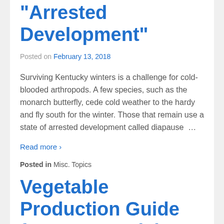“Arrested Development”
Posted on February 13, 2018
Surviving Kentucky winters is a challenge for cold-blooded arthropods. A few species, such as the monarch butterfly, cede cold weather to the hardy and fly south for the winter. Those that remain use a state of arrested development called diapause …
Read more ›
Posted in Misc. Topics
Vegetable Production Guide for Commercial